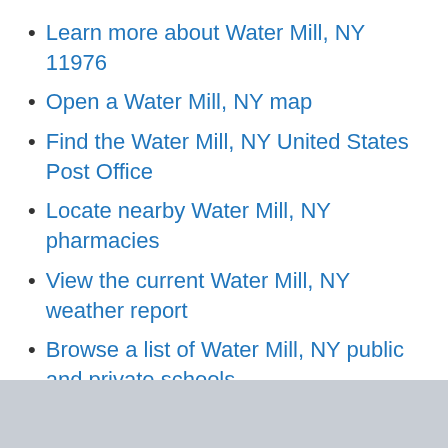Learn more about Water Mill, NY 11976
Open a Water Mill, NY map
Find the Water Mill, NY United States Post Office
Locate nearby Water Mill, NY pharmacies
View the current Water Mill, NY weather report
Browse a list of Water Mill, NY public and private schools
Water Mill, NY is located in Suffolk county in New York State